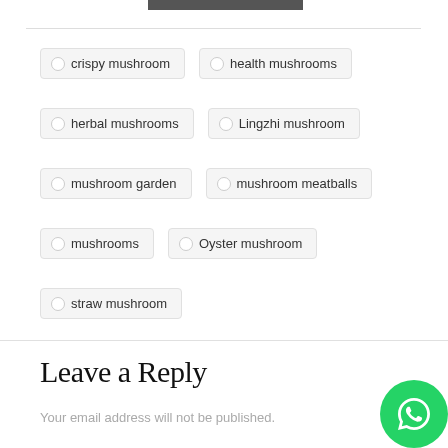[Figure (photo): Partial image strip at the top of the page]
crispy mushroom
health mushrooms
herbal mushrooms
Lingzhi mushroom
mushroom garden
mushroom meatballs
mushrooms
Oyster mushroom
straw mushroom
Leave a Reply
Your email address will not be published.